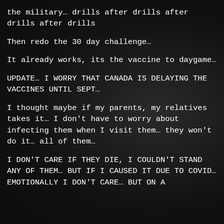the military… drills after drills after drills after drills
Then redo the 30 day challenge…
It already works, its the vaccine to daygame…
UPDATE… I WORRY THAT CANADA IS DELAYING THE VACCINES UNTIL SEPT…
I thought maybe if my parents, my relatives takes it… I don't have to worry about infecting them when I visit them… they won't do it… all of them…
I DON'T CARE IF THEY DIE, I COULDN'T STAND ANY OF THEM… BUT IF I CAUSED IT DUE TO COVID… EMOTIONALLY I DON'T CARE… BUT ON A